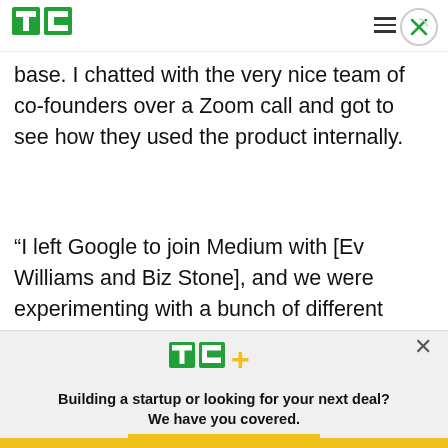TechCrunch logo and navigation
base. I chatted with the very nice team of co-founders over a Zoom call and got to see how they used the product internally.
“I left Google to join Medium with [Ev Williams and Biz Stone], and we were experimenting with a bunch of different organizational practices, really
[Figure (logo): TechCrunch TC+ logo with yellow plus sign]
Building a startup or looking for your next deal? We have you covered.
EXPLORE NOW